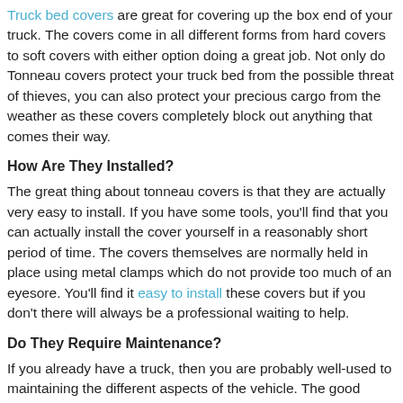Truck bed covers are great for covering up the box end of your truck. The covers come in all different forms from hard covers to soft covers with either option doing a great job. Not only do Tonneau covers protect your truck bed from the possible threat of thieves, you can also protect your precious cargo from the weather as these covers completely block out anything that comes their way.
How Are They Installed?
The great thing about tonneau covers is that they are actually very easy to install. If you have some tools, you'll find that you can actually install the cover yourself in a reasonably short period of time. The covers themselves are normally held in place using metal clamps which do not provide too much of an eyesore. You'll find it easy to install these covers but if you don't there will always be a professional waiting to help.
Do They Require Maintenance?
If you already have a truck, then you are probably well-used to maintaining the different aspects of the vehicle. The good news is that when you install a tonneau cover, you don't need to worry about any sort of maintenance apart from general cleaning from time to time. As long as you don't do any damage to your truck or your cover, you'll be